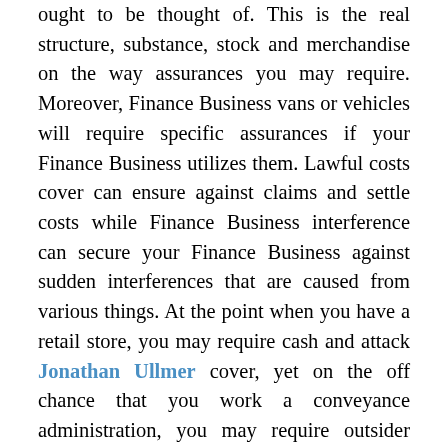ought to be thought of. This is the real structure, substance, stock and merchandise on the way assurances you may require. Moreover, Finance Business vans or vehicles will require specific assurances if your Finance Business utilizes them. Lawful costs cover can ensure against claims and settle costs while Finance Business interference can secure your Finance Business against sudden interferences that are caused from various things. At the point when you have a retail store, you may require cash and attack Jonathan Ullmer cover, yet on the off chance that you work a conveyance administration, you may require outsider entrepreneur security as a couple of different models. These are only a couple of the dangers you have to consider and when you talk with an entrepreneur master, they can assist you with recognizing the sorts of assurance you have to consider so as to decrease your danger presentation.